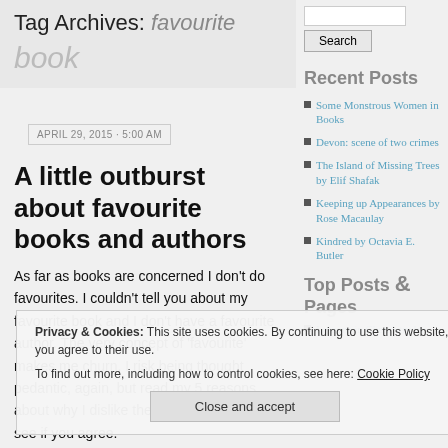Tag Archives: favourite book
APRIL 29, 2015 · 5:00 AM
A little outburst about favourite books and authors
As far as books are concerned I don't do favourites. I couldn't tell you about my favourite book and I don't have a favourite author. The very concept of 'favourite' makes me churn. I risk being thought pedantic, again, but read my 5 reasons about why I dislike the idea so much and see if you agree.
Recent Posts
Some Monstrous Women in Books
Devon: scene of two crimes
The Island of Missing Trees by Elif Shafak
Keeping up Appearances by Rose Macaulay
Kindred by Octavia E. Butler
Top Posts & Pages
Lessons in Chemistry by
Privacy & Cookies: This site uses cookies. By continuing to use this website, you agree to their use. To find out more, including how to control cookies, see here: Cookie Policy